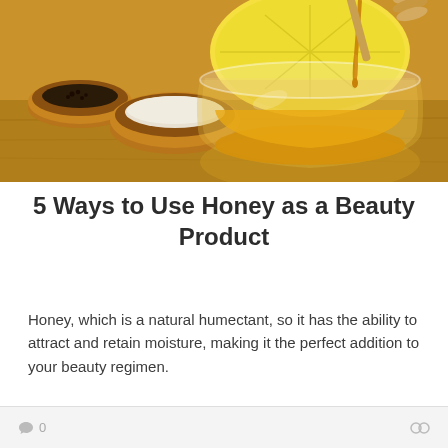[Figure (photo): A glass bowl filled with golden honey being drizzled from a honey dipper, surrounded by wooden bowls with spices and a lemon half on a wooden surface.]
5 Ways to Use Honey as a Beauty Product
Honey, which is a natural humectant, so it has the ability to attract and retain moisture, making it the perfect addition to your beauty regimen.
0